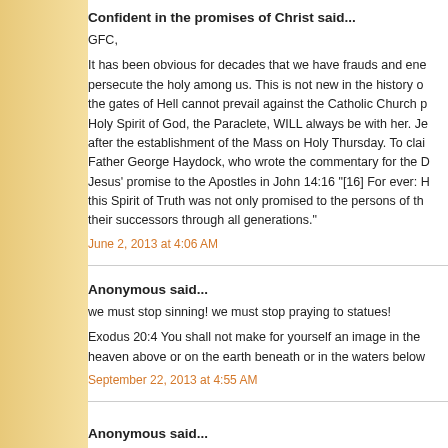Confident in the promises of Christ said...
GFC,
It has been obvious for decades that we have frauds and enemies who persecute the holy among us. This is not new in the history of the gates of Hell cannot prevail against the Catholic Church p Holy Spirit of God, the Paraclete, WILL always be with her. Je after the establishment of the Mass on Holy Thursday. To clai Father George Haydock, who wrote the commentary for the D Jesus' promise to the Apostles in John 14:16 "[16] For ever: H this Spirit of Truth was not only promised to the persons of th their successors through all generations."
June 2, 2013 at 4:06 AM
Anonymous said...
we must stop sinning! we must stop praying to statues!
Exodus 20:4 You shall not make for yourself an image in the heaven above or on the earth beneath or in the waters below
September 22, 2013 at 4:55 AM
Anonymous said...